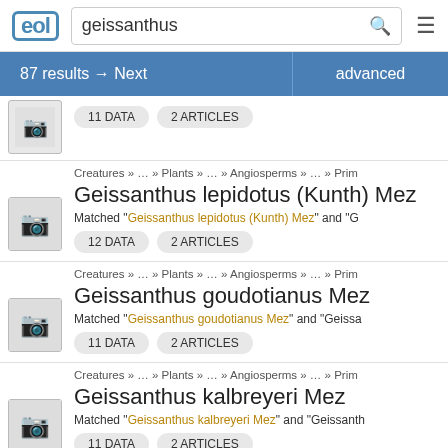EOL — geissanthus search — 87 results → Next | advanced
11 DATA  2 ARTICLES
Creatures » … » Plants » … » Angiosperms » … » Prim
Geissanthus lepidotus (Kunth) Mez
Matched "Geissanthus lepidotus (Kunth) Mez" and "G
12 DATA  2 ARTICLES
Creatures » … » Plants » … » Angiosperms » … » Prim
Geissanthus goudotianus Mez
Matched "Geissanthus goudotianus Mez" and "Geissa
11 DATA  2 ARTICLES
Creatures » … » Plants » … » Angiosperms » … » Prim
Geissanthus kalbreyeri Mez
Matched "Geissanthus kalbreyeri Mez" and "Geissanth
11 DATA  2 ARTICLES
Creatures »   » Plants »   » Angiosperms »